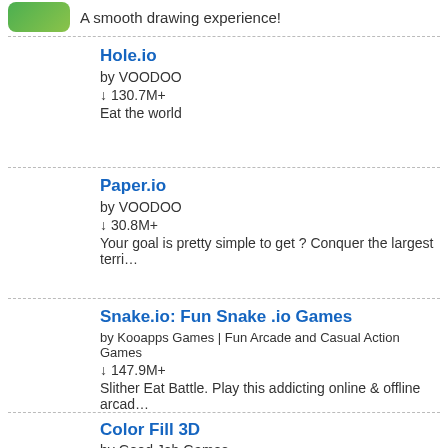A smooth drawing experience!
Hole.io
by VOODOO
↓ 130.7M+
Eat the world
Paper.io
by VOODOO
↓ 30.8M+
Your goal is pretty simple to get ? Conquer the largest terri…
Snake.io: Fun Snake .io Games
by Kooapps Games | Fun Arcade and Casual Action Games
↓ 147.9M+
Slither Eat Battle. Play this addicting online & offline arcad…
Color Fill 3D
by Good Job Games
↓ 141.1M+
Relax Your Mind